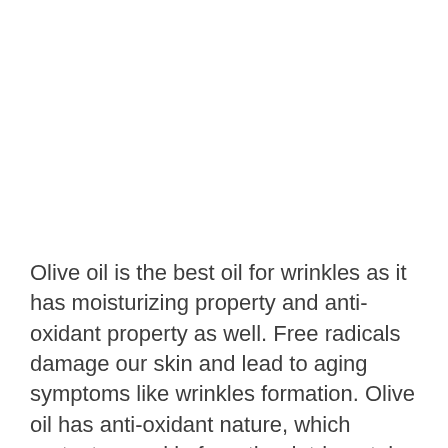Olive oil is the best oil for wrinkles as it has moisturizing property and anti-oxidant property as well. Free radicals damage our skin and lead to aging symptoms like wrinkles formation. Olive oil has anti-oxidant nature, which protects our skin from the detrimental effects of free radicals. It's a boon of nature.